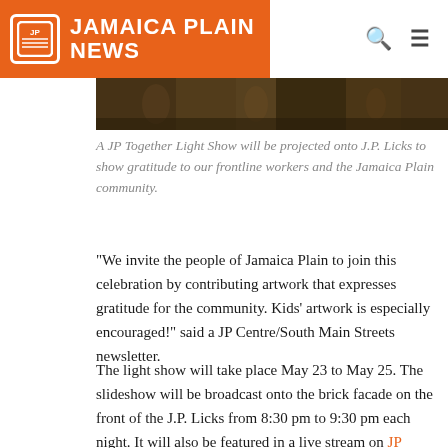Jamaica Plain News
[Figure (photo): Interior photo strip showing a dimly lit room with tables and chairs]
A JP Together Light Show will be projected onto J.P. Licks to show gratitude to our frontline workers and the Jamaica Plain community.
"We invite the people of Jamaica Plain to join this celebration by contributing artwork that expresses gratitude for the community. Kids’ artwork is especially encouraged!" said a JP Centre/South Main Streets newsletter.
The light show will take place May 23 to May 25. The slideshow will be broadcast onto the brick facade on the front of the J.P. Licks from 8:30 pm to 9:30 pm each night. It will also be featured in a live stream on JP Centre/South Main Street’s Facebook page, and recorded for people to watch at any time.